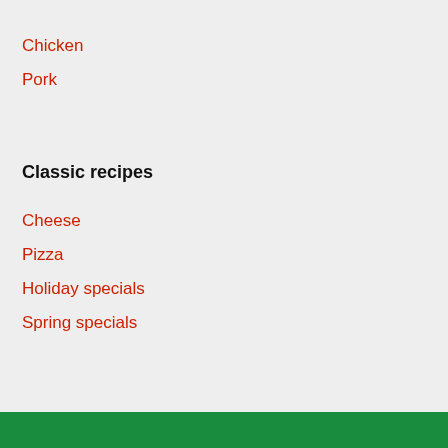Chicken
Pork
Classic recipes
Cheese
Pizza
Holiday specials
Spring specials